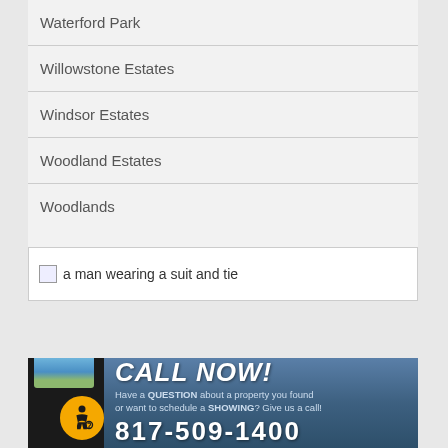Waterford Park
Willowstone Estates
Windsor Estates
Woodland Estates
Woodlands
[Figure (photo): A broken image placeholder with alt text: a man wearing a suit and tie]
[Figure (infographic): Call Now banner with phone graphic, accessibility icon, phone number 817-509-1400, and text: Have a QUESTION about a property you found or want to schedule a SHOWING? Give us a call!]